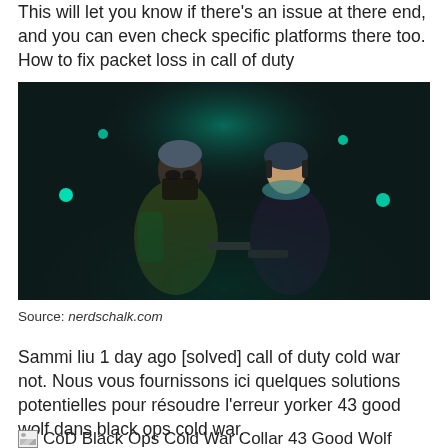This will let you know if there's an issue at there end, and you can even check specific platforms there too. How to fix packet loss in call of duty
[Figure (photo): Two Call of Duty characters in tactical gear standing back-to-back in a dark, teal-lit environment. Left character wears a green jacket and skull mask with backpack; right character wears a dark hoodie and headset.]
Source: nerdschalk.com
Sammi liu 1 day ago [solved] call of duty cold war not. Nous vous fournissons ici quelques solutions potentielles pour résoudre l'erreur yorker 43 good wolf dans black ops cold war.
CoD Black Ops Cold War Collar 43 Good Wolf